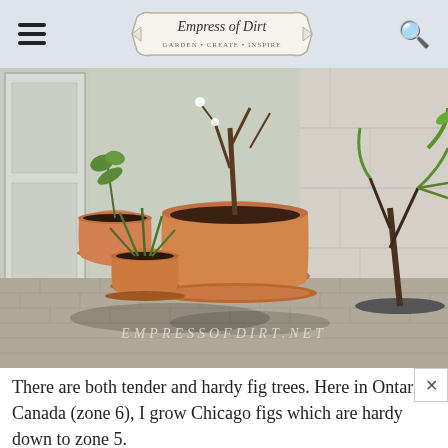Empress of Dirt
[Figure (photo): Several terracotta pots with fig trees and plants on a brick patio outside a white building. Pots of various sizes, one large central pot with bare branches, smaller pots with green leafy plants. Watermark text EMPRESSOFDIRT.NET visible at bottom of photo.]
There are both tender and hardy fig trees. Here in Ontario, Canada (zone 6), I grow Chicago figs which are hardy down to zone 5.